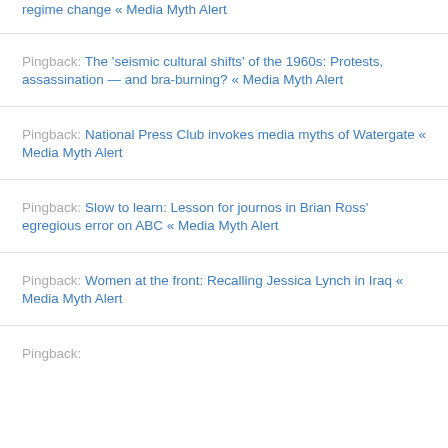regime change « Media Myth Alert
Pingback: The 'seismic cultural shifts' of the 1960s: Protests, assassination — and bra-burning? « Media Myth Alert
Pingback: National Press Club invokes media myths of Watergate « Media Myth Alert
Pingback: Slow to learn: Lesson for journos in Brian Ross' egregious error on ABC « Media Myth Alert
Pingback: Women at the front: Recalling Jessica Lynch in Iraq « Media Myth Alert
Pingback: